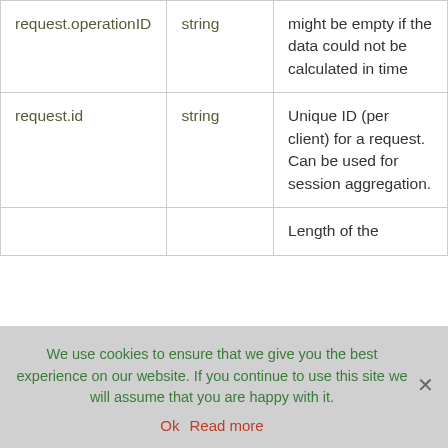| request.operationID | string | might be empty if the data could not be calculated in time |
| request.id | string | Unique ID (per client) for a request. Can be used for session aggregation. |
|  |  | Length of the |
We use cookies to ensure that we give you the best experience on our website. If you continue to use this site we will assume that you are happy with it.
Ok  Read more